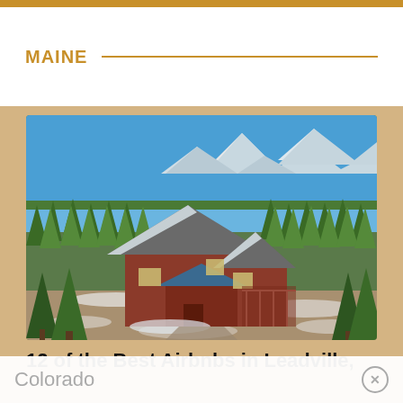MAINE
[Figure (photo): Aerial view of a large red-brick/wood chalet-style house with snow-dusted roof, surrounded by pine forests and snow patches on the ground, with snow-capped mountains visible in the background under a bright blue sky.]
12 of the Best Airbnbs in Leadville, Colorado